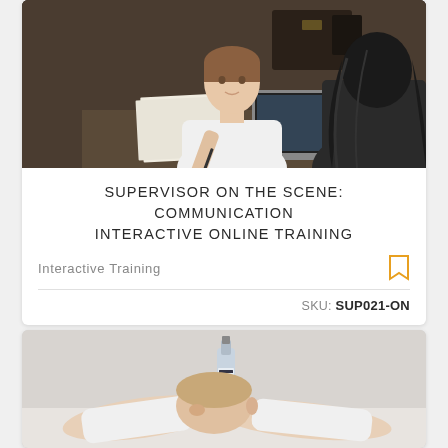[Figure (photo): A woman in a white sweater sitting at a table with papers and a laptop, gesturing while talking to someone across from her in what appears to be a cafe or meeting setting.]
SUPERVISOR ON THE SCENE: COMMUNICATION INTERACTIVE ONLINE TRAINING
Interactive Training
SKU: SUP021-ON
[Figure (photo): A person slumped over a table with their head resting on their arms, with a bottle of alcohol visible in front of them, suggesting intoxication or distress.]